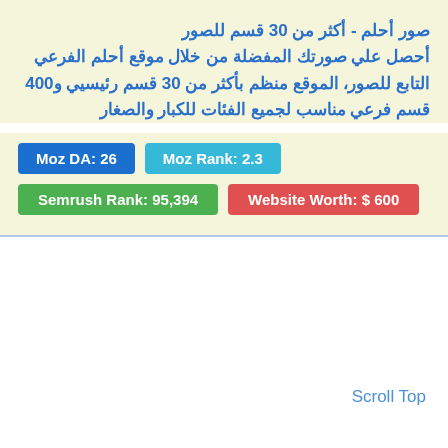صور أحلم - أكثر من 30 قسم للصور
أحصل علي صورتك المفضلة من خلال موقع أحلم الفرعي التابع للصور، الموقع منظم بأكثر من 30 قسم رئيسيي و400 قسم فرعي مناسب لجميع الفئات للكبار والصغار
Moz DA: 26 | Moz Rank: 2.3 | Semrush Rank: 95,394 | Website Worth: $ 600
Scroll Top